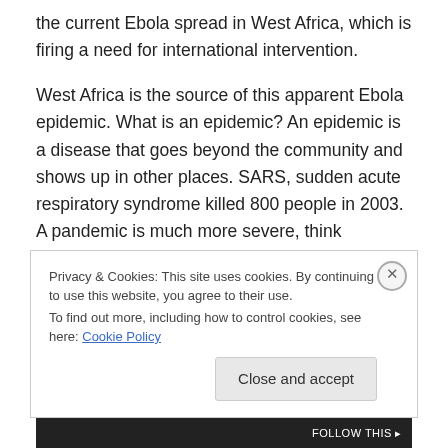the current Ebola spread in West Africa, which is firing a need for international intervention.
West Africa is the source of this apparent Ebola epidemic. What is an epidemic? An epidemic is a disease that goes beyond the community and shows up in other places. SARS, sudden acute respiratory syndrome killed 800 people in 2003. A pandemic is much more severe, think HIV/AIDS or the Spanish Influenza which globally killed 40-50 million. The CDC and World Health Organizations will be extremely busy in attempts to contain and control
Privacy & Cookies: This site uses cookies. By continuing to use this website, you agree to their use. To find out more, including how to control cookies, see here: Cookie Policy
Close and accept